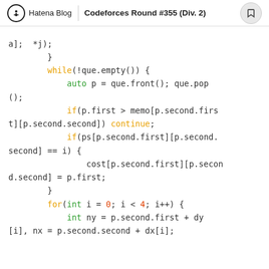Hatena Blog | Codeforces Round #355 (Div. 2)
a]; *j);
        }
        while(!que.empty()) {
            auto p = que.front(); que.pop();
            if(p.first > memo[p.second.first][p.second.second]) continue;
            if(ps[p.second.first][p.second.second] == i) {
                cost[p.second.first][p.second.second] = p.first;
            }
            for(int i = 0; i < 4; i++) {
                int ny = p.second.first + dy[i], nx = p.second.second + dx[i];